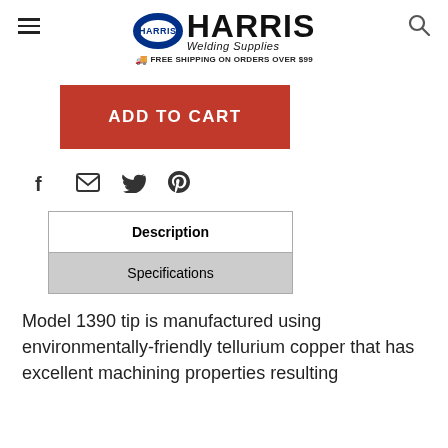Harris Welding Supplies — FREE SHIPPING ON ORDERS OVER $99
[Figure (logo): Harris Welding Supplies logo with oval emblem and free shipping note]
ADD TO CART
[Figure (infographic): Social share icons: Facebook, Email, Twitter, Pinterest]
| Description |
| Specifications |
Model 1390 tip is manufactured using environmentally-friendly tellurium copper that has excellent machining properties resulting